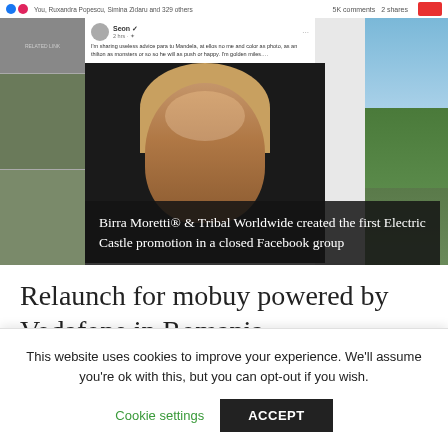[Figure (screenshot): Facebook post screenshot showing reactions bar ('You, Ruxandra Popescu, Simina Zidaru and 329 others', '5K comments 2 shares'), a post by a verified user with text, and a video frame of a woman with a dark overlay caption: 'Birra Moretti® & Tribal Worldwide created the first Electric Castle promotion in a closed Facebook group'. Right side shows outdoor event photos.]
Relaunch for mobuy powered by Vodafone in Romania
This website uses cookies to improve your experience. We'll assume you're ok with this, but you can opt-out if you wish.
Cookie settings   ACCEPT